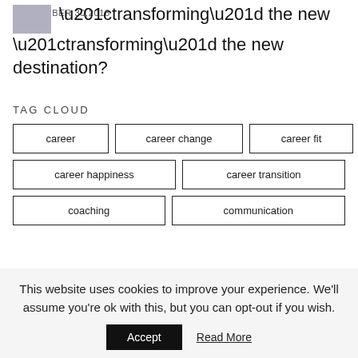[Figure (photo): Small thumbnail image of a person]
“transforming” the new destination?
SEPTEMBER 30,2018
TAG CLOUD
career
career change
career fit
career happiness
career transition
coaching
communication
This website uses cookies to improve your experience. We’ll assume you’re ok with this, but you can opt-out if you wish.
Accept   Read More